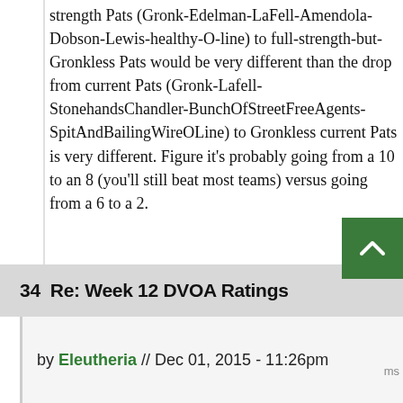strength Pats (Gronk-Edelman-LaFell-Amendola-Dobson-Lewis-healthy-O-line) to full-strength-but-Gronkless Pats would be very different than the drop from current Pats (Gronk-Lafell-StonehandsChandler-BunchOfStreetFreeAgents-SpitAndBailingWireOLine) to Gronkless current Pats is very different. Figure it's probably going from a 10 to an 8 (you'll still beat most teams) versus going from a 6 to a 2.
34  Re: Week 12 DVOA Ratings
by Eleutheria // Dec 01, 2015 - 11:26pm